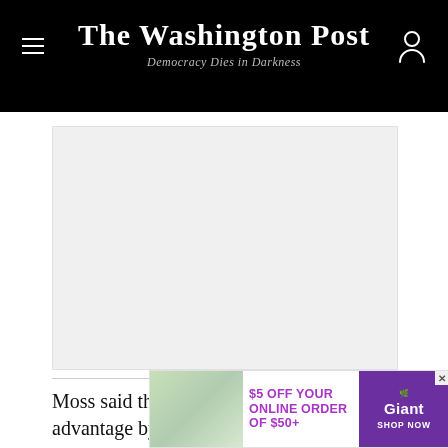The Washington Post — Democracy Dies in Darkness
[Figure (photo): Large image placeholder area, light gray background]
Moss said that aircraft makers seek market advantage by convincing buyers that new generations of planes
[Figure (other): Advertisement banner: $5 OFF YOUR ONLINE ORDER OF $50+ — Giant, SHOP NOW]